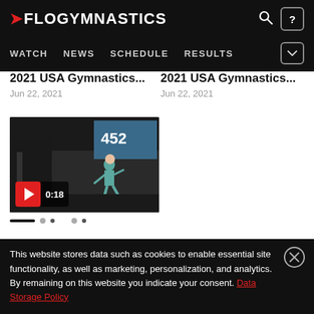FLOGYMNASTICS — navigation: WATCH, NEWS, SCHEDULE, RESULTS
2021 USA Gymnastics...
Jun 22, 2021
2021 USA Gymnastics...
Jun 22, 2021
[Figure (screenshot): Video thumbnail of a gymnast performing on floor, with play button overlay and duration 0:18]
This website stores data such as cookies to enable essential site functionality, as well as marketing, personalization, and analytics. By remaining on this website you indicate your consent. Data Storage Policy